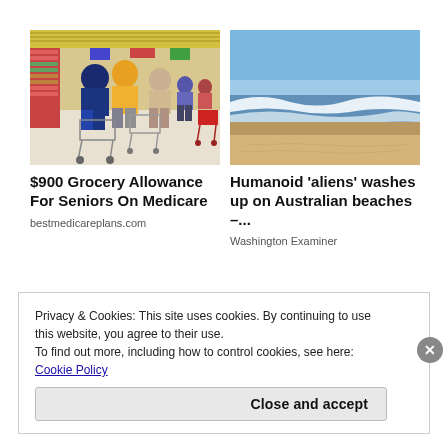[Figure (photo): Shoppers with grocery carts in a retail store aisle]
[Figure (photo): Ocean waves washing up on a sandy beach under a blue sky]
$900 Grocery Allowance For Seniors On Medicare
bestmedicareplans.com
Humanoid 'aliens' washes up on Australian beaches –...
Washington Examiner
Privacy & Cookies: This site uses cookies. By continuing to use this website, you agree to their use.
To find out more, including how to control cookies, see here: Cookie Policy
Close and accept